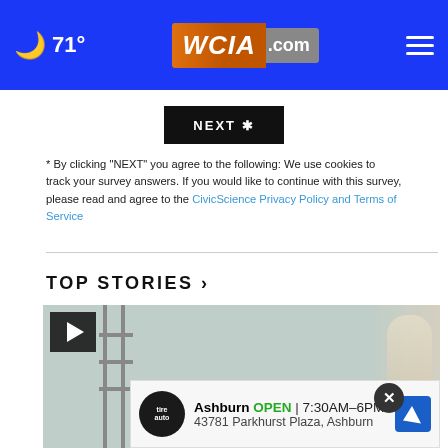71° WCIA.com
[Figure (screenshot): NEXT button (black background, white text)]
* By clicking "NEXT" you agree to the following: We use cookies to track your survey answers. If you would like to continue with this survey, please read and agree to the CivicScience Privacy Policy and Terms of Service
TOP STORIES ›
[Figure (screenshot): Video thumbnail showing a scaffold/construction scene with a play button overlay and a woman visible on the right side]
[Figure (screenshot): Advertisement banner for Ashburn Tire Auto: OPEN 7:30AM–6PM, 43781 Parkhurst Plaza, Ashburn]